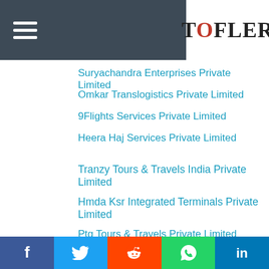[Figure (logo): Tofler logo with hamburger menu on dark header bar]
Suryachandra Enterprises Private Limited
Omkar Translogistics Private Limited
9Flights Services Private Limited
Heera Haj Services Private Limited
Tranzy Tours & Travels India Private Limited
Hmda Ksr Integrated Terminals Private Limited
Ptg Tours & Travels Private Limited
Datla Cabs Private Limited
Stc Logistics Private Limited
Grayhound Transport Private Limited
Zenexpress Logistics Private Limited
[Figure (infographic): Social share bar with Facebook, Twitter, Reddit, WhatsApp, LinkedIn buttons]